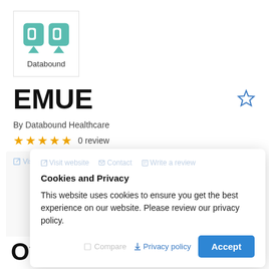[Figure (logo): Databound app logo — teal owl face icon with text 'Databound' below]
EMUE
By Databound Healthcare
☆☆☆☆☆  0 review
Cookies and Privacy

This website uses cookies to ensure you get the best experience on our website. Please review our privacy policy.
Privacy policy   Accept
Overview